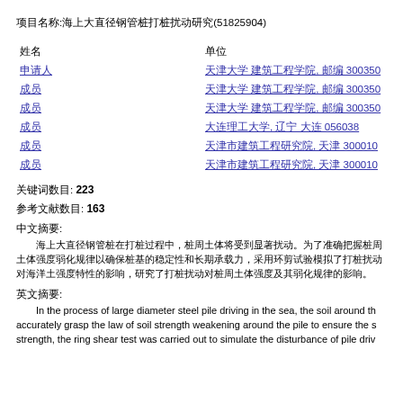项目名称:海上大直径钢管桩打桩扰动研究(51825904)
| 姓名 | 单位 |
| --- | --- |
| 申请人 | 天津大学建筑工程学院, 邮编 300350 |
| 成员 | 天津大学建筑工程学院, 邮编 300350 |
| 成员 | 天津大学建筑工程学院, 邮编 300350 |
| 成员 | 大连理工大学, 辽宁 大连 056038 |
| 成员 | 天津市建筑工程研究院, 天津 300010 |
| 成员 | 天津市建筑工程研究院, 天津 300010 |
关键词数目: 223
参考文献数目: 163
中文摘要:
[Chinese abstract text about large diameter steel pile driving research]
英文摘要:
In the process of large diameter steel pile driving in the sea, the soil around the pile will be disturbed significantly. In order to accurately grasp the law of soil strength weakening around the pile to ensure the stability and long-term bearing strength, the ring shear test was carried out to simulate the disturbance of pile driv...